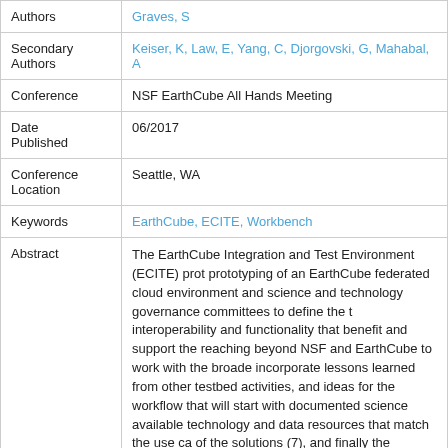| Field | Value |
| --- | --- |
| Authors | Graves, S |
| Secondary Authors | Keiser, K, Law, E, Yang, C, Djorgovski, G, Mahabal, A |
| Conference | NSF EarthCube All Hands Meeting |
| Date Published | 06/2017 |
| Conference Location | Seattle, WA |
| Keywords | EarthCube, ECITE, Workbench |
| Abstract | The EarthCube Integration and Test Environment (ECITE) prot... EarthCube resources. |